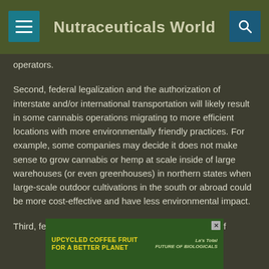Nutraceuticals World
operators.
Second, federal legalization and the authorization of interstate and/or international transportation will likely result in some cannabis operations migrating to more efficient locations with more environmentally friendly practices. For example, some companies may decide it does not make sense to grow cannabis or hemp at scale inside of large warehouses (or even greenhouses) in northern states when large-scale outdoor cultivations in the south or abroad could be more cost-effective and have less environmental impact.
Third, federal legalization will unleash a whole host of
[Figure (photo): Advertisement banner: UPCYCLED COFFEE FRUIT for a better planet - Future of Biologicals branding]